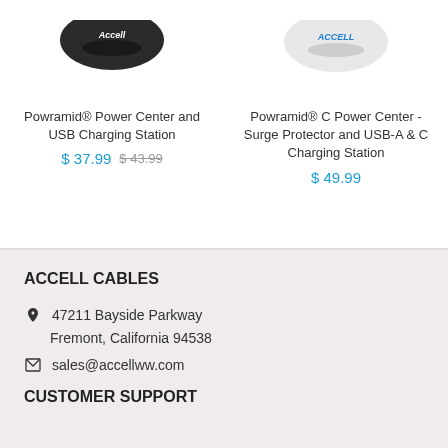Powramid® Power Center and USB Charging Station
$ 37.99  $ 43.99
Powramid® C Power Center - Surge Protector and USB-A & C Charging Station
$ 49.99
ACCELL CABLES
47211 Bayside Parkway
Fremont, California 94538
sales@accellww.com
CUSTOMER SUPPORT